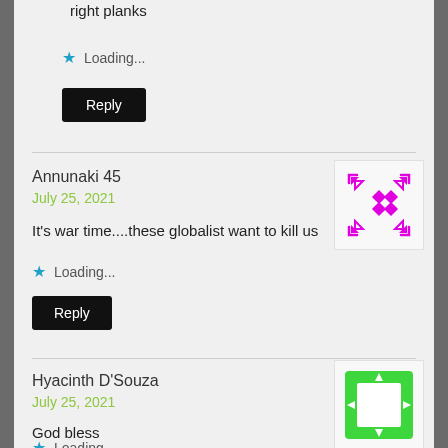right planks
Loading...
Reply
Annunaki 45
July 25, 2021
It's war time....these globalist want to kill us
Loading...
Reply
Hyacinth D'Souza
July 25, 2021
God bless
Loading...